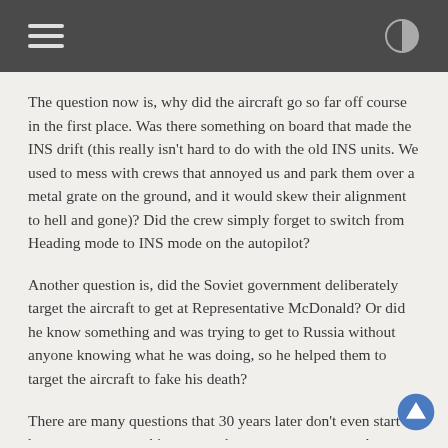The question now is, why did the aircraft go so far off course in the first place. Was there something on board that made the INS drift (this really isn't hard to do with the old INS units. We used to mess with crews that annoyed us and park them over a metal grate on the ground, and it would skew their alignment to hell and gone)? Did the crew simply forget to switch from Heading mode to INS mode on the autopilot?
Another question is, did the Soviet government deliberately target the aircraft to get at Representative McDonald? Or did he know something and was trying to get to Russia without anyone knowing what he was doing, so he helped them to target the aircraft to fake his death?
There are many questions that 30 years later don't even start to have an answer, and it appears that we may never get those answers. At least not for many more years.